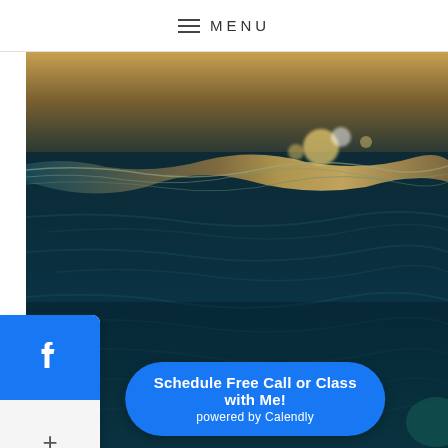MENU
[Figure (photo): Underwater ocean photo showing dark teal water with rippling surface and golden light reflecting from above, taken from just below the waterline]
[Figure (logo): Facebook share button widget - blue square panel with white Facebook 'f' icon, and a white panel below with a plus (+) symbol]
Schedule Free Call or Class with Me!
powered by Calendly